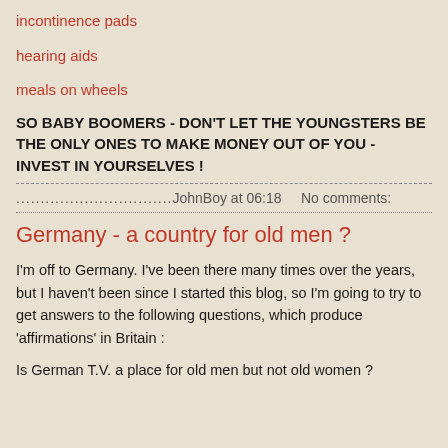incontinence pads
hearing aids
meals on wheels
SO BABY BOOMERS - DON'T LET THE YOUNGSTERS BE THE ONLY ONES TO MAKE MONEY OUT OF YOU - INVEST IN YOURSELVES !
................................JohnBoy at 06:18    No comments:
Germany - a country for old men ?
I'm off to Germany. I've been there many times over the years, but I haven't been since I started this blog, so I'm going to try to get answers to the following questions, which produce 'affirmations' in Britain :
Is German T.V. a place for old men but not old women ?